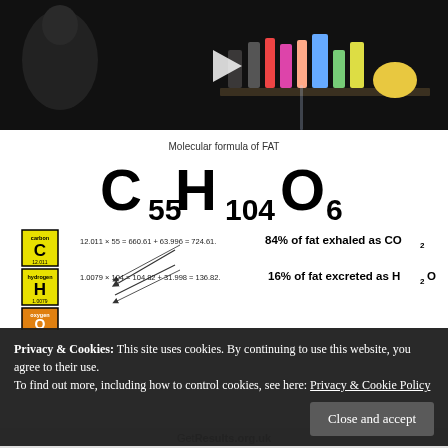[Figure (photo): Dark photo showing a person and colorful bottles/perfume bottles on a shelf with a video play button overlay]
[Figure (infographic): Molecular formula of FAT: C55 H104 O6 with element tiles for Carbon, Hydrogen, Oxygen and calculations: 12.011 x 55 = 660.61 + 63.996 = 724.61 showing 84% of fat exhaled as CO2; 1.0079 x 104 = 104.82 + 31.998 = 136.82 showing 16% of fat excreted as H2O]
Privacy & Cookies: This site uses cookies. By continuing to use this website, you agree to their use.
To find out more, including how to control cookies, see here: Privacy & Cookie Policy
Close and accept
GetResults.org.uk